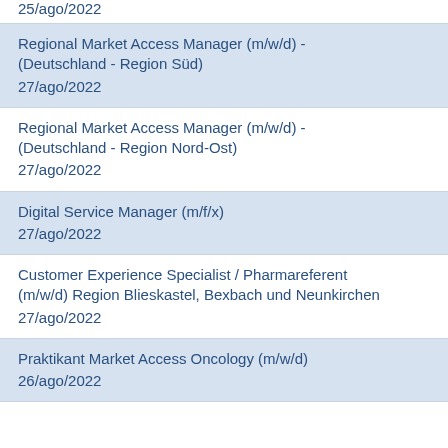25/ago/2022
Regional Market Access Manager (m/w/d) - (Deutschland - Region Süd)
27/ago/2022
Regional Market Access Manager (m/w/d) - (Deutschland - Region Nord-Ost)
27/ago/2022
Digital Service Manager (m/f/x)
27/ago/2022
Customer Experience Specialist / Pharmareferent (m/w/d) Region Blieskastel, Bexbach und Neunkirchen
27/ago/2022
Praktikant Market Access Oncology (m/w/d)
26/ago/2022